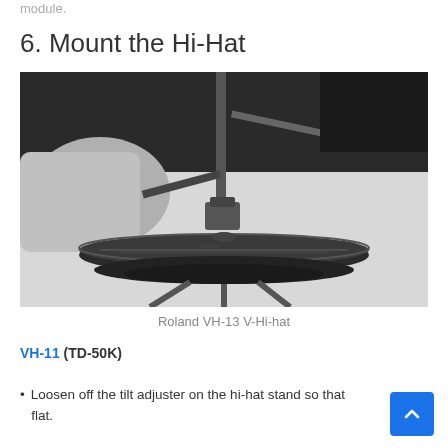module.
6. Mount the Hi-Hat
[Figure (photo): Black and white close-up photo of a Roland VH-13 V-Hi-hat cymbal mounted on a stand, with a person's hand visible in the background adjusting components.]
Roland VH-13 V-Hi-hat
VH-11 (TD-50K)
Loosen off the tilt adjuster on the hi-hat stand so that the hi-hat sits flat.